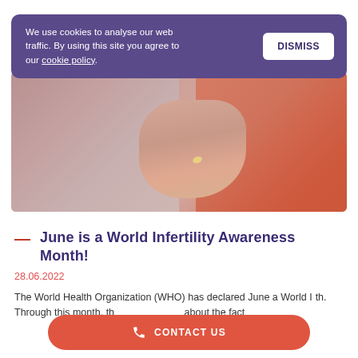We use cookies to analyse our web traffic. By using this site you agree to our cookie policy.
DISMISS
[Figure (photo): Close-up photo of two people embracing, one wearing a diamond engagement ring, pink/rose tones with warm orange-red on the right side.]
June is a World Infertility Awareness Month!
28.06.2022
The World Health Organization (WHO) has declared June a World Infertility Awareness Month. Through this month, they raise awareness about the fact
CONTACT US